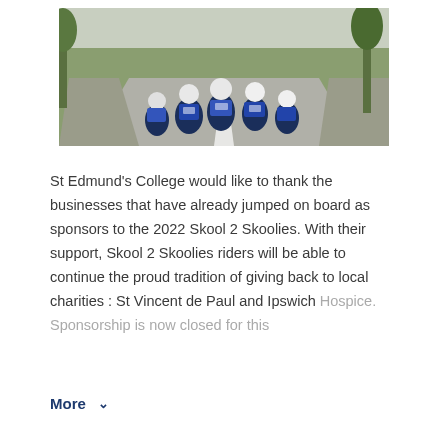[Figure (photo): A group of cyclists in blue and white team kit riding away from the camera down a road lined with trees, viewed from behind.]
St Edmund's College would like to thank the businesses that have already jumped on board as sponsors to the 2022 Skool 2 Skoolies.  With their support, Skool 2 Skoolies riders will be able to continue the proud tradition of giving back to local charities : St Vincent de Paul and Ipswich Hospice.  Sponsorship is now closed for this
More ∨